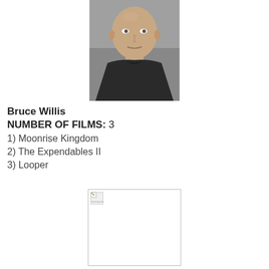[Figure (photo): Headshot photo of Bruce Willis, a bald man in a dark suit, facing the camera]
Bruce Willis
NUMBER OF FILMS: 3
1) Moonrise Kingdom
2) The Expendables II
3) Looper
[Figure (photo): Second photo placeholder — broken/missing image]